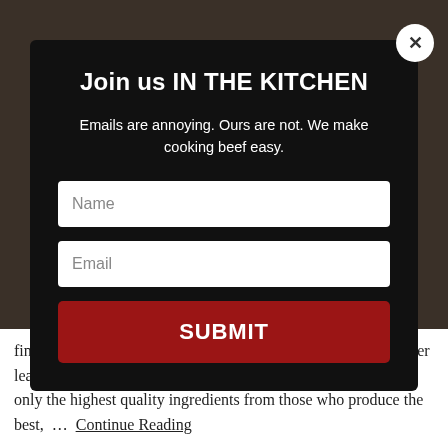[Figure (screenshot): Background photo of a chef in a kitchen setting, dark/dim background]
Join us IN THE KITCHEN
Emails are annoying. Ours are not. We make cooking beef easy.
Name (input field)
Email (input field)
SUBMIT (button)
fine dining establishments, Parker’s New American Bistro, Ollier learned early on in his culinary career the benefits of using not only the highest quality ingredients from those who produce the best, …
Continue Reading